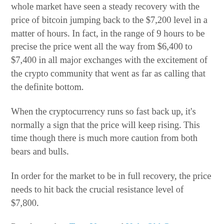whole market have seen a steady recovery with the price of bitcoin jumping back to the $7,200 level in a matter of hours. In fact, in the range of 9 hours to be precise the price went all the way from $6,400 to $7,400 in all major exchanges with the excitement of the crypto community that went as far as calling that the definite bottom.
When the cryptocurrency runs so fast back up, it's normally a sign that the price will keep rising. This time though there is much more caution from both bears and bulls.
In order for the market to be in full recovery, the price needs to hit back the crucial resistance level of $7,800.
Popular traders Tone Vays and Ugly Old Goat discussed the scenario during one of Vays' YouTube episodes yesterday and both agreed that we won't be back to a bull market until that resistance level is broken.